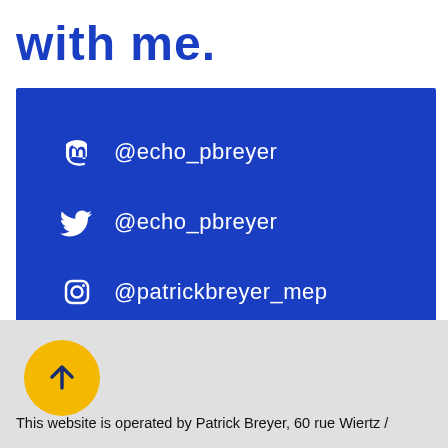with me.
@echo_pbreyer (Mastodon)
@echo_pbreyer (Twitter)
@patrickbreyer_mep (Instagram)
This website is operated by Patrick Breyer, 60 rue Wiertz /